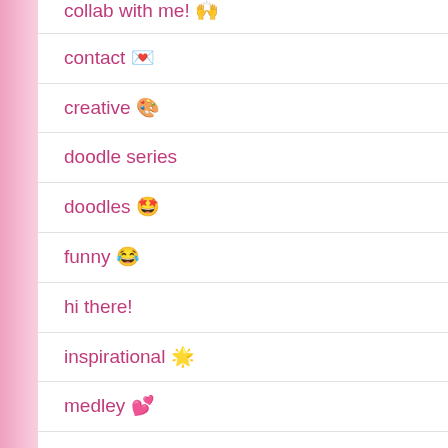collab with me! 🙌
contact 💌
creative 🎨
doodle series
doodles 🤩
funny 😂
hi there!
inspirational 🌟
medley 💕